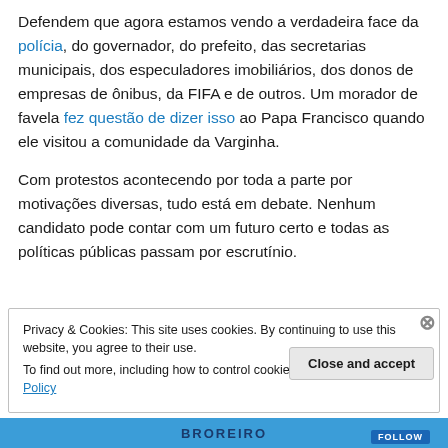Defendem que agora estamos vendo a verdadeira face da polícia, do governador, do prefeito, das secretarias municipais, dos especuladores imobiliários, dos donos de empresas de ônibus, da FIFA e de outros. Um morador de favela fez questão de dizer isso ao Papa Francisco quando ele visitou a comunidade da Varginha.
Com protestos acontecendo por toda a parte por motivações diversas, tudo está em debate. Nenhum candidato pode contar com um futuro certo e todas as políticas públicas passam por escrutínio.
Privacy & Cookies: This site uses cookies. By continuing to use this website, you agree to their use. To find out more, including how to control cookies, see here: Cookie Policy
Close and accept